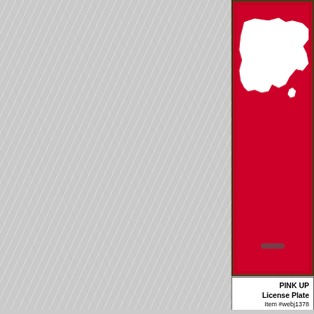[Figure (photo): Pink Michigan Upper Peninsula license plate with white map outline on red/pink background]
PINK UP License Plate
Item #webj1378
$10.99
Add to cart
[Figure (photo): God's Country license plate with moose and mountain scene on white background with red border]